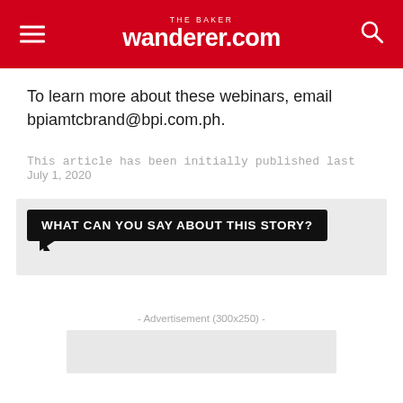THE BAKER wanderer.com
To learn more about these webinars, email bpiamtcbrand@bpi.com.ph.
This article has been initially published last July 1, 2020
[Figure (other): Comment prompt box with speech bubble shape reading: WHAT CAN YOU SAY ABOUT THIS STORY?]
- Advertisement (300x250) -